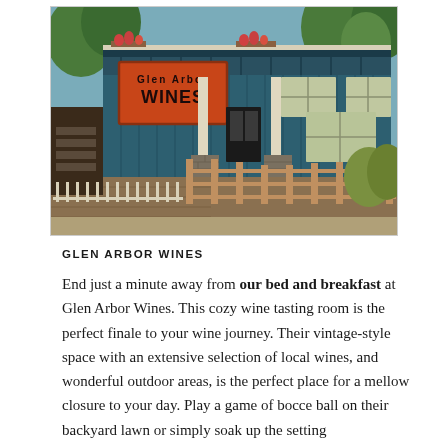[Figure (photo): Exterior photo of Glen Arbor Wines, a two-story blue building with an orange sign reading 'Glen Arbor Wines', white balcony railings, window boxes with flowers, stone column bases, and a wooden deck/fence area in front.]
GLEN ARBOR WINES
End just a minute away from our bed and breakfast at Glen Arbor Wines. This cozy wine tasting room is the perfect finale to your wine journey. Their vintage-style space with an extensive selection of local wines, and wonderful outdoor areas, is the perfect place for a mellow closure to your day. Play a game of bocce ball on their backyard lawn or simply soak up the setting